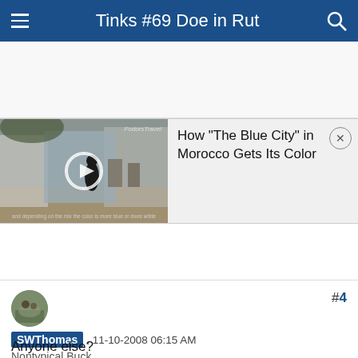Tinks #69 Doe in Rut
[Figure (screenshot): Video advertisement banner showing a street scene in Morocco (blue/white alleyway with person walking) on the left with play button, and text 'How "The Blue City" in Morocco Gets Its Color' on the right with a close button]
#4
[Figure (photo): User avatar photo showing outdoor/nature scene]
SWThomas , 11-10-2008 06:15 AM
Nontypical Buck
RE: Tinks #69 Doe in Rut
ttt
Anyone else?